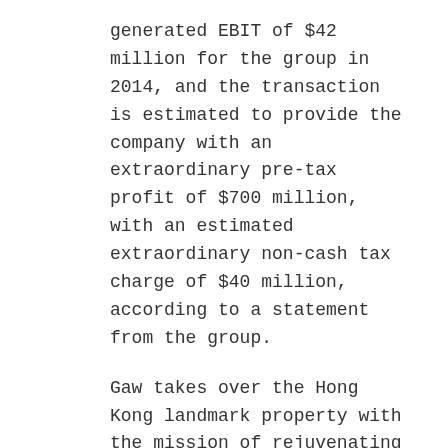generated EBIT of $42 million for the group in 2014, and the transaction is estimated to provide the company with an extraordinary pre-tax profit of $700 million, with an estimated extraordinary non-cash tax charge of $40 million, according to a statement from the group.
Gaw takes over the Hong Kong landmark property with the mission of rejuvenating the hotel, which originally opened in 1980 as the Regent Hong Kong. As part of the transaction, Gaw has made a commitment to refurbish the hotel starting in 2017, in a process that is expect to take 18 months.
After the sale closes, which is expected in the second half of this year, the Intercontinental Hotel